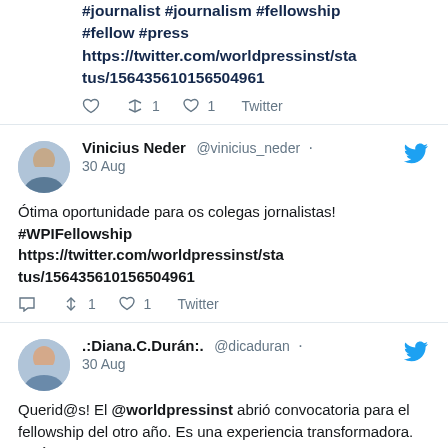#journalist #journalism #fellowship #fellow #press https://twitter.com/worldpressinst/status/156435610156504961
↩1  ♡1  Twitter
Vinicius Neder @vinicius_neder · 30 Aug
Ótima oportunidade para os colegas jornalistas! #WPIFellowship https://twitter.com/worldpressinst/status/156435610156504961
↩1  ♡1  Twitter
.:Diana.C.Durán:. @dicaduran · 30 Aug
Querid@s! El @worldpressinst abrió convocatoria para el fellowship del otro año. Es una experiencia transformadora. ¡Anímense!